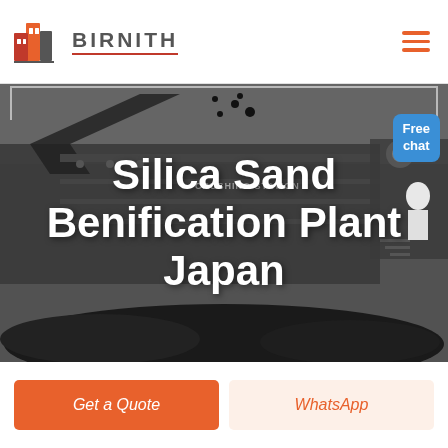[Figure (logo): Birnith company logo with orange building icon and brand name BIRNITH in bold gray letters with red underline, and hamburger menu icon on the right]
[Figure (photo): Dark industrial photo of a crushing station machinery with large conveyor and rocks/coal, overlaid with bold white text reading 'Silica Sand Benification Plant Japan' and a blue 'Free chat' button in the top right corner]
Silica Sand Benification Plant Japan
Free chat
Get a Quote
WhatsApp